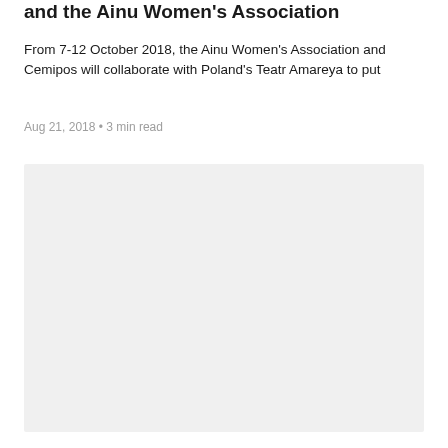and the Ainu Women's Association
From 7-12 October 2018, the Ainu Women's Association and Cemipos will collaborate with Poland's Teatr Amareya to put
Aug 21, 2018 • 3 min read
[Figure (photo): Light gray placeholder image block occupying the lower portion of the page]